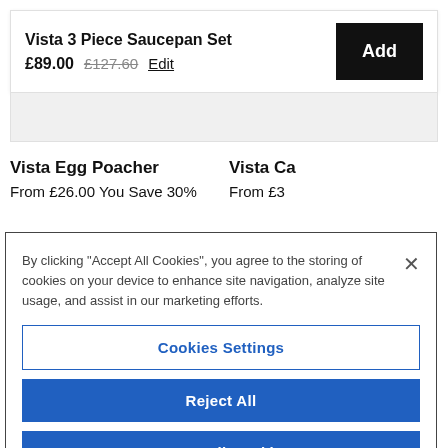Vista 3 Piece Saucepan Set
£89.00  £127.60  Edit
Add
Vista Egg Poacher
From £26.00 You Save 30%
Vista Ca
From £3
By clicking "Accept All Cookies", you agree to the storing of cookies on your device to enhance site navigation, analyze site usage, and assist in our marketing efforts.
×
Cookies Settings
Reject All
Accept All Cookies